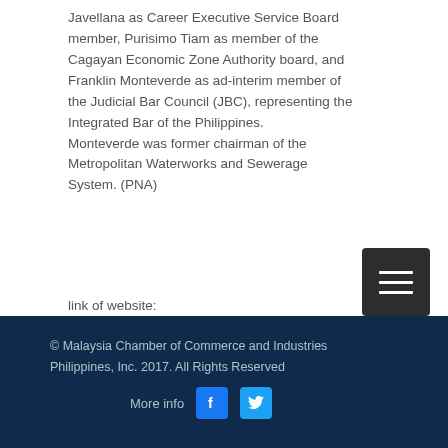Javellana as Career Executive Service Board member, Purisimo Tiam as member of the Cagayan Economic Zone Authority board, and Franklin Monteverde as ad-interim member of the Judicial Bar Council (JBC), representing the Integrated Bar of the Philippines.
Monteverde was former chairman of the Metropolitan Waterworks and Sewerage System. (PNA)
link of website: https://www.pna.gov.ph/articles/
[Figure (other): Dark hamburger menu button icon with three white horizontal lines on dark background]
[Figure (other): Next button - rounded rectangle outline with text 'Next' in dark navy color]
© Malaysia Chamber of Commerce and Industries Philippines, Inc. 2017. All Rights Reserved
More info [Facebook icon] [Twitter icon]